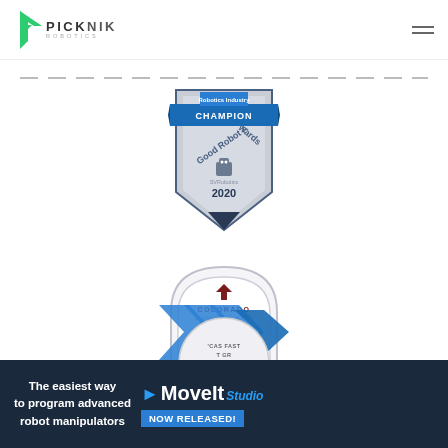[Figure (logo): PickNik Robotics logo with green angular icon and PICKNIK ROBOTICS text]
[Figure (illustration): Dashed horizontal line separator]
[Figure (illustration): Good Robot Awards 2020 Champion badge - shield shaped with blue ribbon banner at top saying CHAMPION, text Good Robot Awards, robot icon, SVRobotics, 2020, navy and silver colors]
[Figure (illustration): Colorado Companies to Watch 2021 Winner badge - arch-shaped tombstone style with Colorado logo and maroon 2021 WINNER text]
[Figure (illustration): Blue chevron arrows overlay graphic]
[Figure (screenshot): MoveIt Studio NOW RELEASED promotional banner - dark navy background, text: The easiest way to program advanced robot manipulators, MoveIt Studio logo in white and blue, NOW RELEASED button in blue]
[Figure (illustration): Partial badge at bottom: Americas Fastest Growing companies badge (partially visible)]